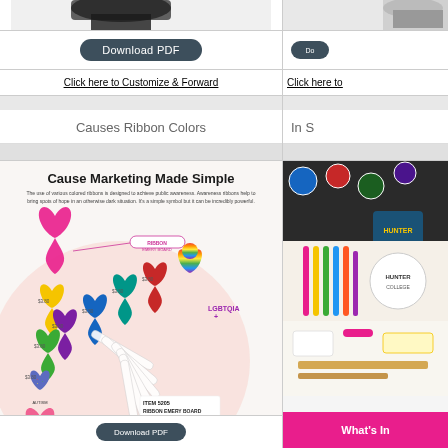[Figure (photo): Product image at top of left column, partially cropped]
Download PDF
Click here to Customize & Forward
Do
Click here to
Causes Ribbon Colors
In S
[Figure (infographic): Cause Marketing Made Simple - ribbon emery board infographic showing various colored awareness ribbons including pink, yellow, green, purple, blue, teal, red, rainbow/LGBTQIA+, autism/puzzle piece, and breast cancer ribbons, with ITEM 5205 RIBBON EMERY BOARD product details]
[Figure (photo): Right column photo showing promotional products including buttons, patches, pens and other merchandise]
What's In